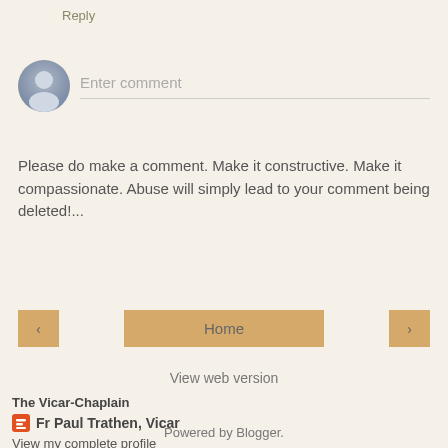Reply
[Figure (illustration): Comment input area with a gray user avatar icon on the left and 'Enter comment' placeholder text with a bottom border line]
Please do make a comment. Make it constructive. Make it compassionate. Abuse will simply lead to your comment being deleted!...
< Home >
View web version
The Vicar-Chaplain
Fr Paul Trathen, Vicar
View my complete profile
Powered by Blogger.